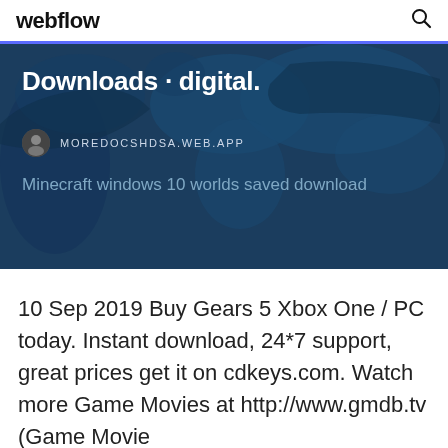webflow
[Figure (screenshot): Webflow website banner with dark blue background showing a world map silhouette. Contains text 'Downloads · digital.' and site URL 'MOREDOCSHDSA.WEB.APP' with a user avatar icon, and subtitle 'Minecraft windows 10 worlds saved download']
10 Sep 2019 Buy Gears 5 Xbox One / PC today. Instant download, 24*7 support, great prices get it on cdkeys.com. Watch more Game Movies at http://www.gmdb.tv (Game Movie